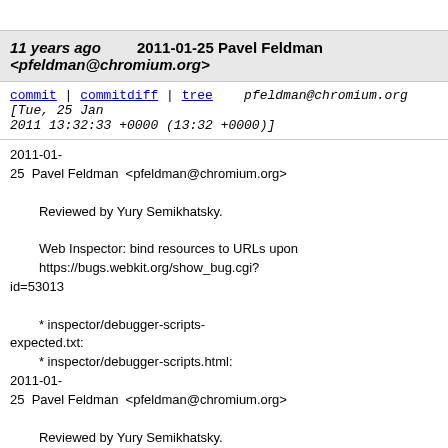11 years ago   2011-01-25 Pavel Feldman <pfeldman@chromium.org>
commit | commitdiff | tree   pfeldman@chromium.org [Tue, 25 Jan 2011 13:32:33 +0000 (13:32 +0000)]
2011-01-25  Pavel Feldman  <pfeldman@chromium.org>

        Reviewed by Yury Semikhatsky.

        Web Inspector: bind resources to URLs upon https://bugs.webkit.org/show_bug.cgi?id=53013

        * inspector/debugger-scripts-expected.txt:
        * inspector/debugger-scripts.html:
2011-01-25  Pavel Feldman  <pfeldman@chromium.org>

        Reviewed by Yury Semikhatsky.

        Web Inspector: bind resources to URLs upon https://bugs.webkit.org/show_bug.cgi?id=53013

        * inspector/front-end/AuditRules.js: